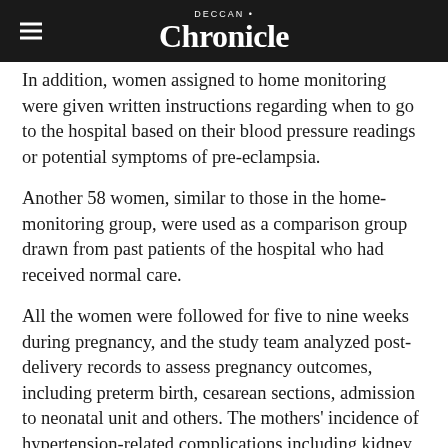DECCAN Chronicle
In addition, women assigned to home monitoring were given written instructions regarding when to go to the hospital based on their blood pressure readings or potential symptoms of pre-eclampsia.
Another 58 women, similar to those in the home-monitoring group, were used as a comparison group drawn from past patients of the hospital who had received normal care.
All the women were followed for five to nine weeks during pregnancy, and the study team analyzed post-delivery records to assess pregnancy outcomes, including preterm birth, cesarean sections, admission to neonatal unit and others. The mothers' incidence of hypertension-related complications including kidney, liver and heart problems was also assessed.